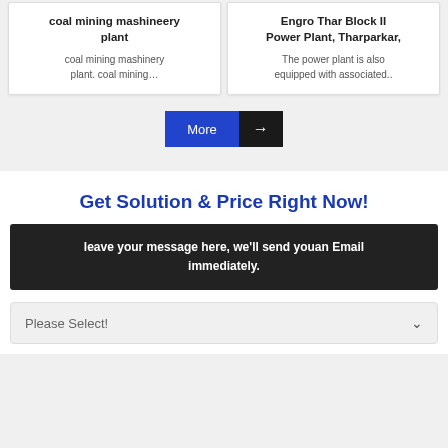coal mining mashineery plant
coal mining mashinery plant. coal mining…
Engro Thar Block II Power Plant, Tharparkar,
The power plant is also equipped with associated..
[Figure (other): More button with blue left section labeled 'More' and black right section with arrow icon]
Get Solution & Price Right Now!
leave your message here, we'll send youan Email immediately.
Please Select!